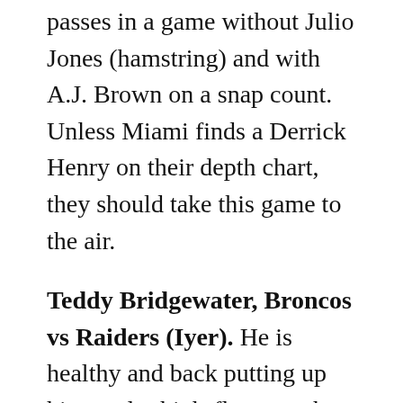passes in a game without Julio Jones (hamstring) and with A.J. Brown on a snap count. Unless Miami finds a Derrick Henry on their depth chart, they should take this game to the air.
Teddy Bridgewater, Broncos vs Raiders (Iyer). He is healthy and back putting up his regular high-floor numbers in the offense, and it happens again at home against a weakening pass defense.
Carson Wentz, Colts vs. Texans (Lutovsky). Wentz is averaging 264.4 passing yards per game, and although he has just seven TDs, he's clearly doing better than many expected. Against Houston, who